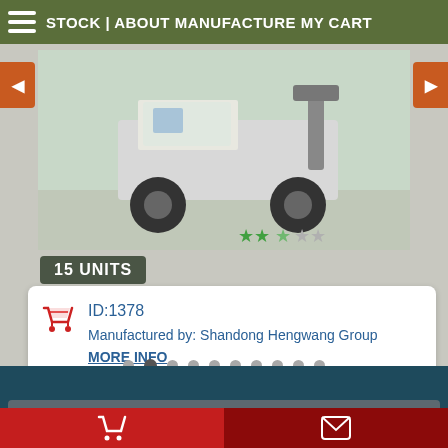STOCK | ABOUT MANUFACTURE MY CART
[Figure (photo): A heavy-duty wheeled loader/crane vehicle photographed outdoors with star rating overlay (approximately 2.5 out of 5 stars)]
15 UNITS
ID:1378 Manufactured by: Shandong Hengwang Group MORE INFO
ARMY-UK.COM ® LATEST ARRIVALS
HOWO ISUZU DUMP TRUCK 8×4 70TON